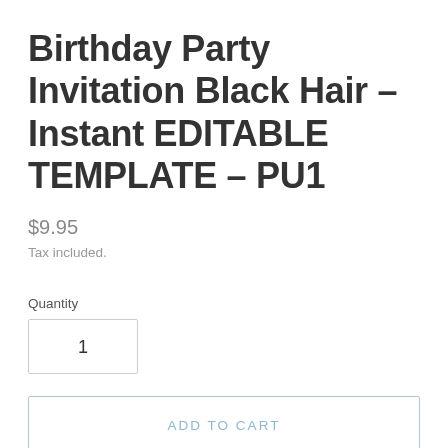Birthday Party Invitation Black Hair - Instant EDITABLE TEMPLATE – PU1
$9.95
Tax included.
Quantity
1
ADD TO CART